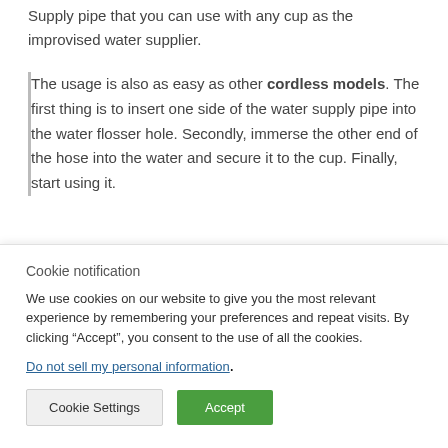Supply pipe that you can use with any cup as the improvised water supplier.
The usage is also as easy as other cordless models. The first thing is to insert one side of the water supply pipe into the water flosser hole. Secondly, immerse the other end of the hose into the water and secure it to the cup. Finally, start using it.
Cookie notification
We use cookies on our website to give you the most relevant experience by remembering your preferences and repeat visits. By clicking “Accept”, you consent to the use of all the cookies.
Do not sell my personal information.